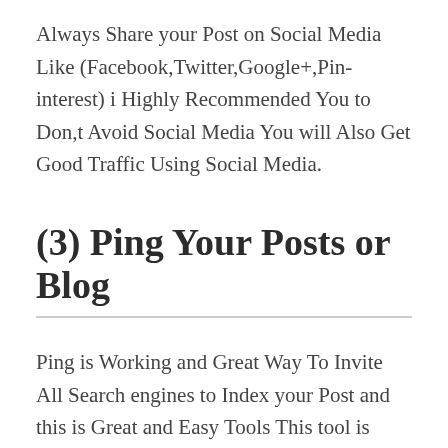Always Share your Post on Social Media Like (Facebook,Twitter,Google+,Pin-interest) i Highly Recommended You to Don,t Avoid Social Media You will Also Get Good Traffic Using Social Media.
(3) Ping Your Posts or Blog
Ping is Working and Great Way To Invite All Search engines to Index your Post and this is Great and Easy Tools This tool is Mostly Used Beginners to Index their Post faster in Search Engines Go to Pinomatic.com and